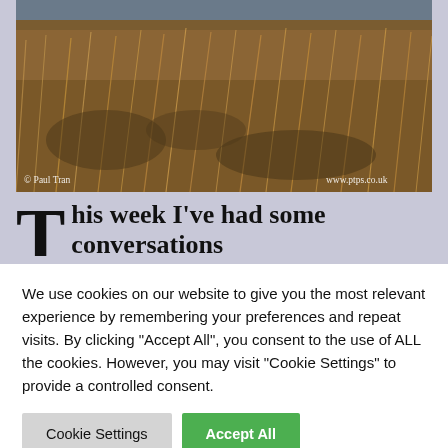[Figure (photo): Photograph of windswept golden-brown grass/moorland with hills in background. Watermark '© Paul Tran' bottom left and 'www.ptps.co.uk' bottom right.]
This week I've had some conversations
We use cookies on our website to give you the most relevant experience by remembering your preferences and repeat visits. By clicking "Accept All", you consent to the use of ALL the cookies. However, you may visit "Cookie Settings" to provide a controlled consent.